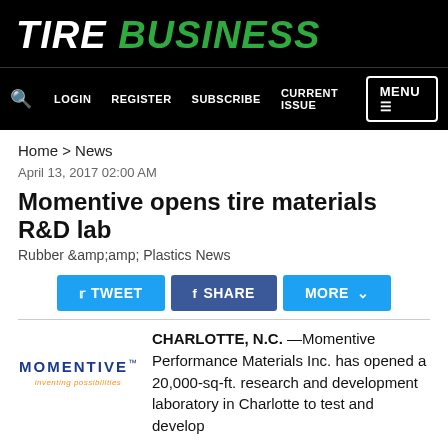Tire Business
LOGIN   REGISTER   SUBSCRIBE   CURRENT ISSUE   MENU
Home > News
April 13, 2017 02:00 AM
Momentive opens tire materials R&D lab
Rubber &amp;amp; Plastics News
[Figure (logo): Momentive logo with tagline 'inventing possibilities']
CHARLOTTE, N.C. —Momentive Performance Materials Inc. has opened a 20,000-sq-ft. research and development laboratory in Charlotte to test and develop